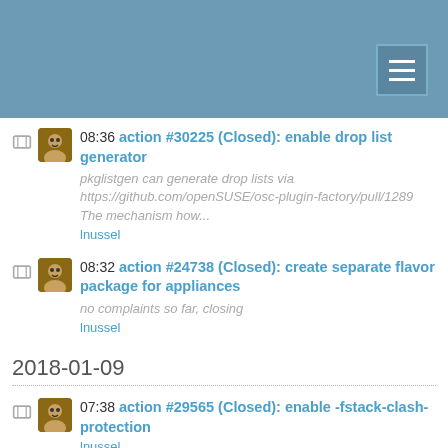08:36 action #30225 (Closed): enable drop list generator
pkglistgen can generate drop lists via https://github.com/openSUSE/osc-plugin-factory/pull/1289 The mechanism how...
lnussel
08:32 action #24738 (Closed): create separate flavor package for appliances
no complaints so far, closing
lnussel
2018-01-09
07:38 action #29565 (Closed): enable -fstack-clash-protection
lnussel
02:30 action #29565: enable -fstack-clash-protection